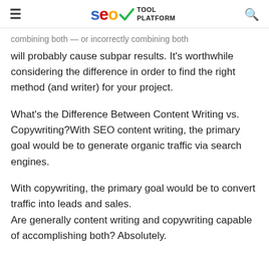SEO Tool Platform
combining both — or incorrectly combining both will probably cause subpar results. It's worthwhile considering the difference in order to find the right method (and writer) for your project.
What's the Difference Between Content Writing vs. Copywriting?With SEO content writing, the primary goal would be to generate organic traffic via search engines.
With copywriting, the primary goal would be to convert traffic into leads and sales. Are generally content writing and copywriting capable of accomplishing both? Absolutely.